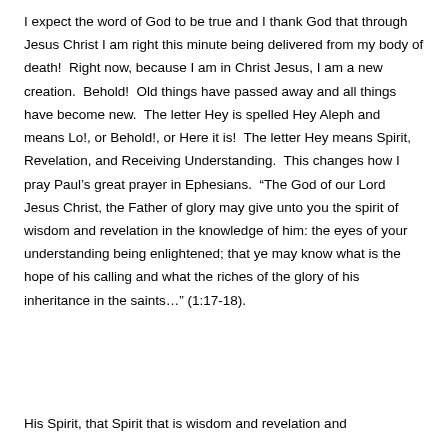I expect the word of God to be true and I thank God that through Jesus Christ I am right this minute being delivered from my body of death!  Right now, because I am in Christ Jesus, I am a new creation.  Behold!  Old things have passed away and all things have become new.  The letter Hey is spelled Hey Aleph and means Lo!, or Behold!, or Here it is!  The letter Hey means Spirit, Revelation, and Receiving Understanding.  This changes how I pray Paul’s great prayer in Ephesians.  “The God of our Lord Jesus Christ, the Father of glory may give unto you the spirit of wisdom and revelation in the knowledge of him: the eyes of your understanding being enlightened; that ye may know what is the hope of his calling and what the riches of the glory of his inheritance in the saints…” (1:17-18).
His Spirit, that Spirit that is wisdom and revelation and